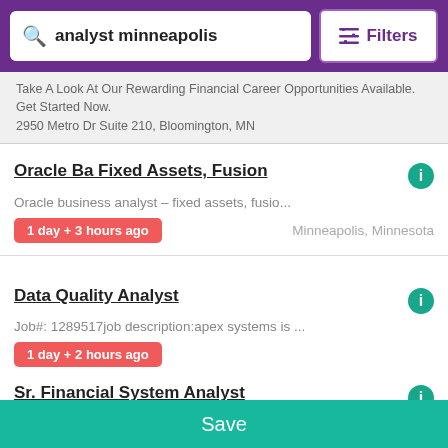analyst minneapolis | Filters
Take A Look At Our Rewarding Financial Career Opportunities Available. Get Started Now.
2950 Metro Dr Suite 210, Bloomington, MN
Oracle Ba Fixed Assets, Fusion
Oracle business analyst – fixed assets, fusio...
1 day + 3 hours ago
Minneapolis, Minnesota
Data Quality Analyst
Job#: 1289517job description:apex systems is ...
1 day + 2 hours ago
Sr. Financial System Analyst
Los angeles - california - united states of a...
1 day + 2 hours ago
Lerona, West Virginia
Save